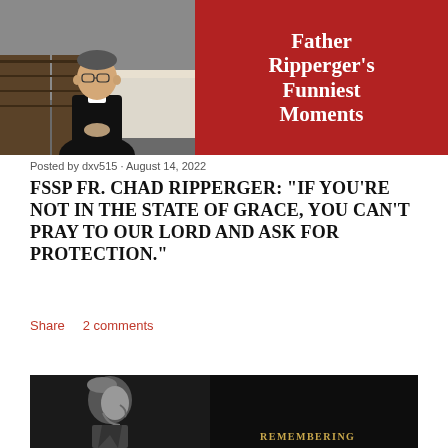[Figure (photo): Top banner image: left side shows a priest in black attire standing in a room with wooden furniture. Right side is a dark red panel with large white serif text reading "Father Ripperger's Funniest Moments".]
Posted by dxv515 · August 14, 2022
FSSP FR. CHAD RIPPERGER: "IF YOU'RE NOT IN THE STATE OF GRACE, YOU CAN'T PRAY TO OUR LORD AND ASK FOR PROTECTION."
Share    2 comments
[Figure (photo): Bottom partial image: black and white photo of an elderly man's profile/bust against a dark background. Gold text at bottom right reads "REMEMBERING".]